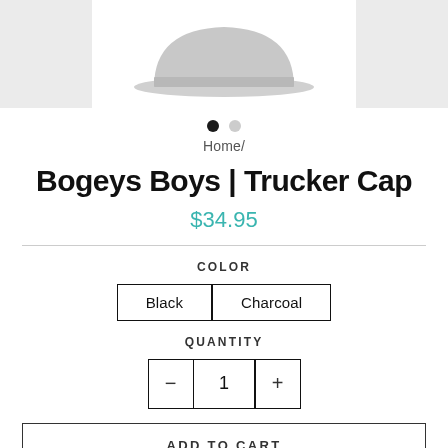[Figure (photo): Product image area showing a grey trucker cap silhouette on white background with grey side panels]
Home/
Bogeys Boys | Trucker Cap
$34.95
COLOR
Black
Charcoal
QUANTITY
1
ADD TO CART